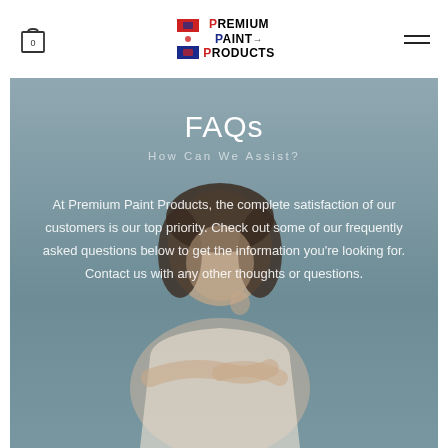Premium Paint Products — navigation header with cart icon and hamburger menu
FAQs
How Can We Assist?
At Premium Paint Products, the complete satisfaction of our customers is our top priority. Check out some of our frequently asked questions below to get the information you're looking for. Contact us with any other thoughts or questions.
[Figure (photo): Young woman with short dark hair, arms crossed, looking upward and to the side, thinking pose, against a muted blue-grey background. Used as banner image for FAQs page.]